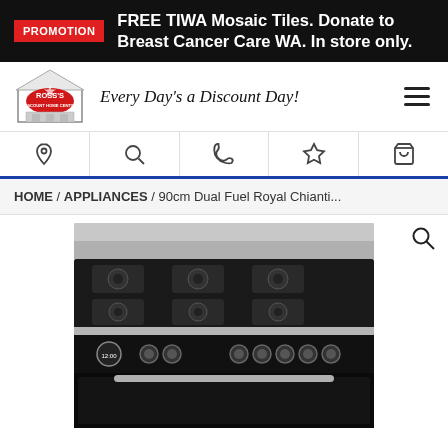PROMOTION FREE TIWA Mosaic Tiles. Donate to Breast Cancer Care WA. In store only.
[Figure (logo): Ross's Discount Home Centre logo with house icon and red oval badge]
Every Day's a Discount Day!
HOME / APPLIANCES / 90cm Dual Fuel Royal Chianti...
[Figure (photo): 90cm Dual Fuel Royal Chianti stove/range cooker with gas hob top in stainless steel and black, showing burners, control knobs, clock and oven door]